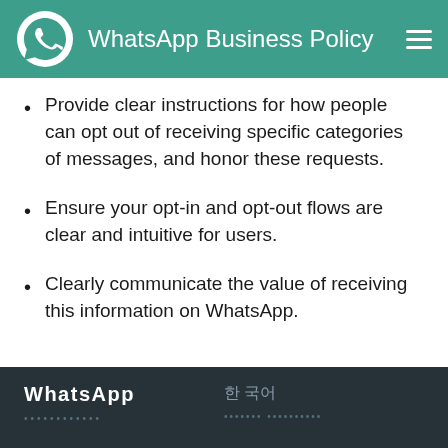WhatsApp Business Policy
Provide clear instructions for how people can opt out of receiving specific categories of messages, and honor these requests.
Ensure your opt-in and opt-out flows are clear and intuitive for users.
Clearly communicate the value of receiving this information on WhatsApp.
WhatsApp